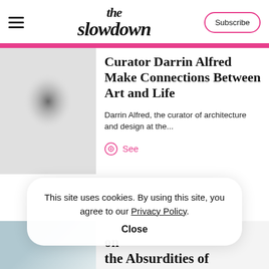the slowdown
[Figure (photo): Blurred grayscale photo of a person, used as article thumbnail]
Curator Darrin Alfred Make Connections Between Art and Life
Darrin Alfred, the curator of architecture and design at the...
See
This site uses cookies. By using this site, you agree to our Privacy Policy.
Close
on the Absurdities of